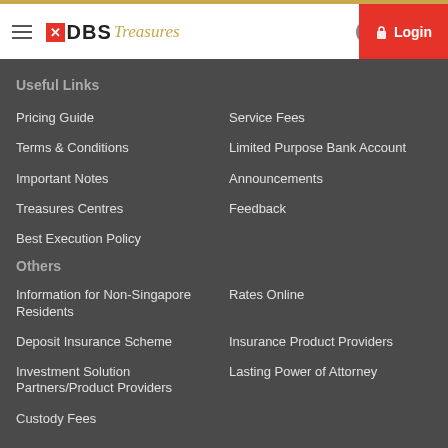DBS Treasures — Login
Useful Links
Pricing Guide
Service Fees
Terms & Conditions
Limited Purpose Bank Account
Important Notes
Announcements
Treasures Centres
Feedback
Best Execution Policy
Others
Information for Non-Singapore Residents
Rates Online
Deposit Insurance Scheme
Insurance Product Providers
Investment Solution Partners/Product Providers
Lasting Power of Attorney
Custody Fees